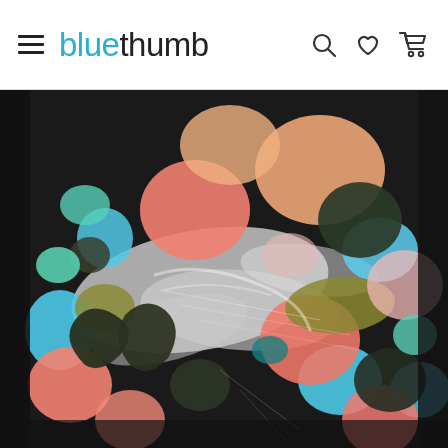bluethumb — navigation header with hamburger menu, search, wishlist, and cart icons
[Figure (illustration): Abstract acrylic painting with colorful brush strokes and paint blobs in coral/salmon pink, sky blue, teal, dark green/black, olive yellow, white, and light pink on a dark background. Features bold gestural marks including circular/swirling dark forms in the lower left quadrant, scattered organic color shapes resembling flowers or abstract botanicals.]